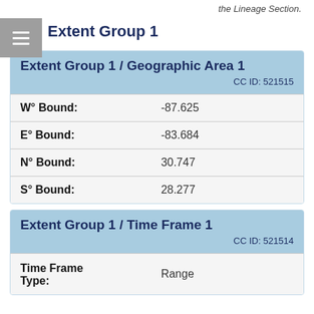the Lineage Section.
Extent Group 1
| Extent Group 1 / Geographic Area 1 | CC ID: 521515 |
| --- | --- |
| W° Bound: | -87.625 |
| E° Bound: | -83.684 |
| N° Bound: | 30.747 |
| S° Bound: | 28.277 |
| Extent Group 1 / Time Frame 1 | CC ID: 521514 |
| --- | --- |
| Time Frame Type: | Range |